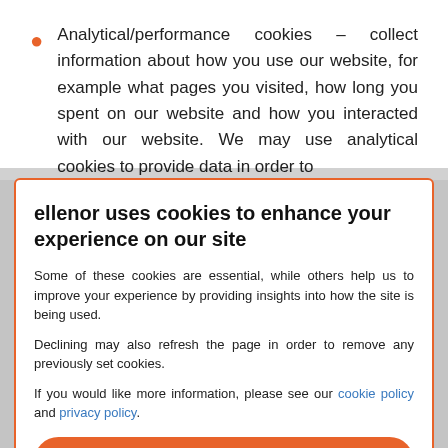Analytical/performance cookies – collect information about how you use our website, for example what pages you visited, how long you spent on our website and how you interacted with our website. We may use analytical cookies to provide data in order to
ellenor uses cookies to enhance your experience on our site
Some of these cookies are essential, while others help us to improve your experience by providing insights into how the site is being used.
Declining may also refresh the page in order to remove any previously set cookies.
If you would like more information, please see our cookie policy and privacy policy.
Accept